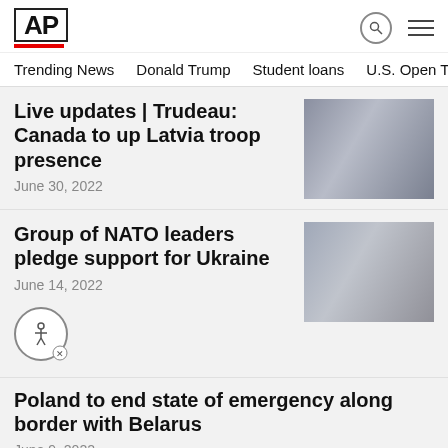AP
Trending News   Donald Trump   Student loans   U.S. Open Tenn
Live updates | Trudeau: Canada to up Latvia troop presence
June 30, 2022
[Figure (photo): Photo of a person in a suit gesturing with hand, blue background]
Group of NATO leaders pledge support for Ukraine
June 14, 2022
[Figure (photo): Photo of a group of leaders in suits standing at podiums]
Poland to end state of emergency along border with Belarus
June 9, 2022
WARSAW, Poland (AP) — Poland's government announced